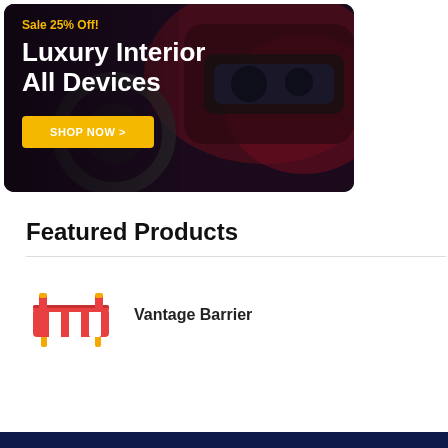[Figure (photo): Hero banner with luxury car interior background, showing dark burgundy and black interior. Overlaid with promotional text and a shop button.]
Sale 25% Off!
Luxury Interior All Devices
SHOP NOW >
Featured Products
Vantage Barrier
[Figure (illustration): Orange and white road barrier/vantage barrier icon]